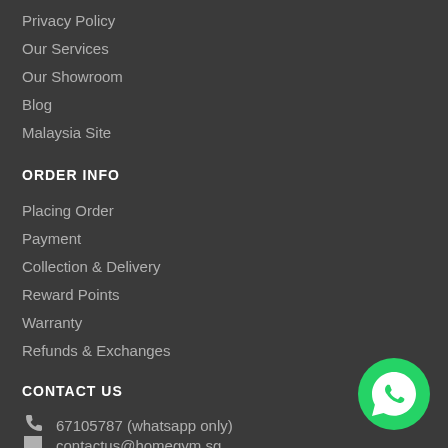Privacy Policy
Our Services
Our Showroom
Blog
Malaysia Site
ORDER INFO
Placing Order
Payment
Collection & Delivery
Reward Points
Warranty
Refunds & Exchanges
CONTACT US
67105787 (whatsapp only)
contactus@homegym.sg
[Figure (logo): WhatsApp green circular logo icon]